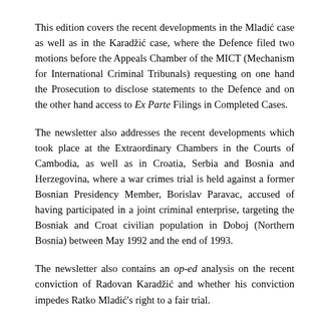This edition covers the recent developments in the Mladić case as well as in the Karadžić case, where the Defence filed two motions before the Appeals Chamber of the MICT (Mechanism for International Criminal Tribunals) requesting on one hand the Prosecution to disclose statements to the Defence and on the other hand access to Ex Parte Filings in Completed Cases.
The newsletter also addresses the recent developments which took place at the Extraordinary Chambers in the Courts of Cambodia, as well as in Croatia, Serbia and Bosnia and Herzegovina, where a war crimes trial is held against a former Bosnian Presidency Member, Borislav Paravac, accused of having participated in a joint criminal enterprise, targeting the Bosniak and Croat civilian population in Doboj (Northern Bosnia) between May 1992 and the end of 1993.
The newsletter also contains an op-ed analysis on the recent conviction of Radovan Karadžić and whether his conviction impedes Ratko Mladić's right to a fair trial.